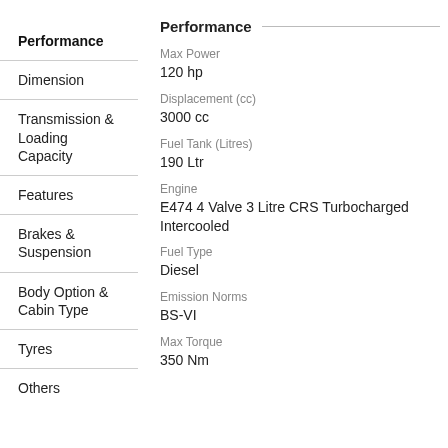Performance
Dimension
Transmission & Loading Capacity
Features
Brakes & Suspension
Body Option & Cabin Type
Tyres
Others
Performance
Max Power
120 hp
Displacement (cc)
3000 cc
Fuel Tank (Litres)
190 Ltr
Engine
E474 4 Valve 3 Litre CRS Turbocharged Intercooled
Fuel Type
Diesel
Emission Norms
BS-VI
Max Torque
350 Nm